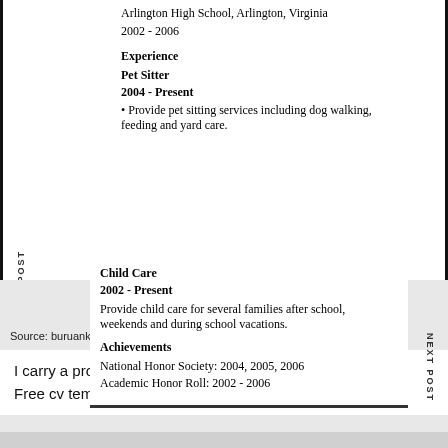Arlington High School, Arlington, Virginia
2002 - 2006
Experience
Pet Sitter
2004 - Present
• Provide pet sitting services including dog walking, feeding and yard care.
Child Care
2002 - Present
Provide child care for several families after school, weekends and during school vacations.
Achievements
National Honor Society: 2004, 2005, 2006
Academic Honor Roll: 2002 - 2006
Source: buruankocak.blogspot.com
I carry a proven track record working with xyz telecoms ltd. Free cv template for people who've never had a job.